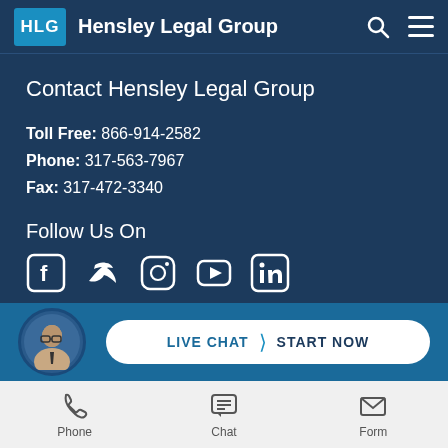HLG Hensley Legal Group
Contact Hensley Legal Group
Toll Free: 866-914-2582
Phone: 317-563-7967
Fax: 317-472-3340
Follow Us On
[Figure (infographic): Social media icons: Facebook, Twitter, Instagram, YouTube, LinkedIn]
[Figure (infographic): Live chat widget with avatar photo of attorney and 'LIVE CHAT START NOW' button]
Phone | Chat | Form